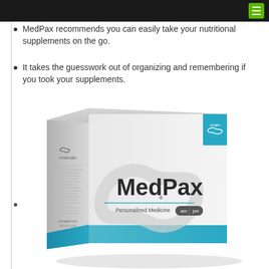MedPax recommends you can easily take your nutritional supplements on the go.
It takes the guesswork out of organizing and remembering if you took your supplements.
[Figure (photo): XYMOGEN MedPax box — a white and light blue supplement organizer box with the text 'MedPax Personalized Medicine am pm' on the front, with a teal/blue accent panel in the upper right corner featuring the XYMOGEN logo.]